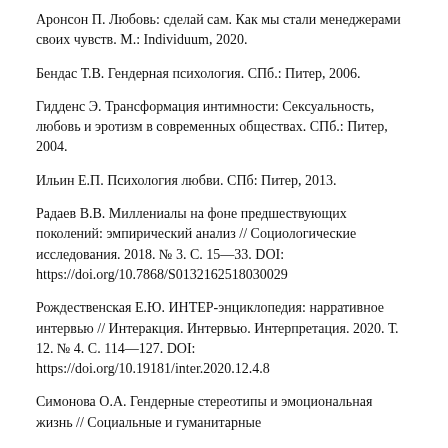Аронсон П. Любовь: сделай сам. Как мы стали менеджерами своих чувств. М.: Individuum, 2020.
Бендас Т.В. Гендерная психология. СПб.: Питер, 2006.
Гидденс Э. Трансформация интимности: Сексуальность, любовь и эротизм в современных обществах. СПб.: Питер, 2004.
Ильин Е.П. Психология любви. СПб: Питер, 2013.
Радаев В.В. Миллениалы на фоне предшествующих поколений: эмпирический анализ // Социологические исследования. 2018. № 3. С. 15—33. DOI: https://doi.org/10.7868/S0132162518030029
Рождественская Е.Ю. ИНТЕР-энциклопедия: нарративное интервью // Интеракция. Интервью. Интерпретация. 2020. Т. 12. № 4. С. 114—127. DOI: https://doi.org/10.19181/inter.2020.12.4.8
Симонова О.А. Гендерные стереотипы и эмоциональная жизнь // Социальные и гуманитарные